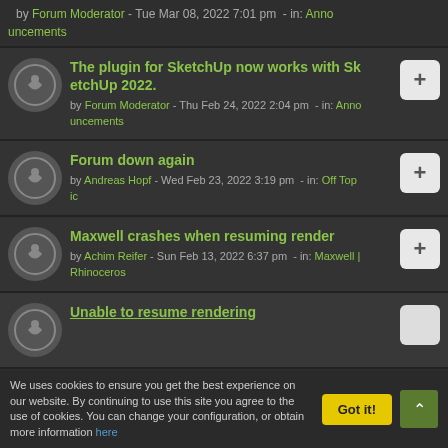by Forum Moderator - Tue Mar 08, 2022 7:01 pm - in: Announcements
The plugin for SketchUp now works with SketchUp 2022.
by Forum Moderator - Thu Feb 24, 2022 2:04 pm - in: Announcements
Forum down again
by Andreas Hopf - Wed Feb 23, 2022 3:19 pm - in: Off Topic
Maxwell crashes when resuming render
by Achim Reifer - Sun Feb 13, 2022 6:37 pm - in: Maxwell | Rhinoceros
Unable to resume rendering
We uses cookies to ensure you get the best experience on our website. By continuing to use this site you agree to the use of cookies. You can change your configuration, or obtain more information here